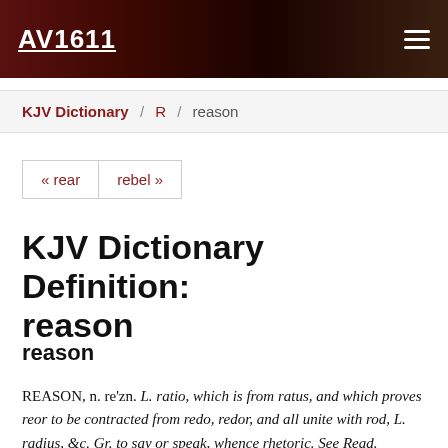AV1611
KJV Dictionary / R / reason
«rear  rebel»
KJV Dictionary Definition: reason
reason
REASON, n. re'zn. L. ratio, which is from ratus, and which proves reor to be contracted from redo, redor, and all unite with rod, L. radius, &c. Gr. to say or speak, whence rhetoric. See Read.